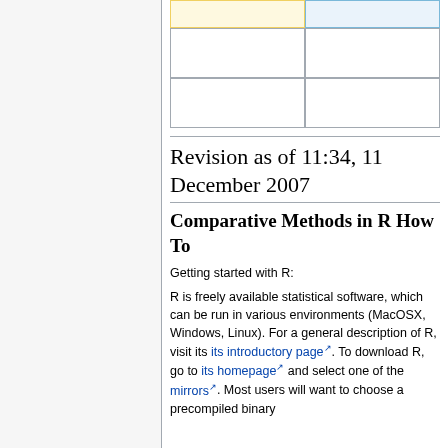|  |  |
| --- | --- |
|  |  |
|  |  |
Revision as of 11:34, 11 December 2007
Comparative Methods in R How To
Getting started with R:
R is freely available statistical software, which can be run in various environments (MacOSX, Windows, Linux). For a general description of R, visit its its introductory page. To download R, go to its homepage and select one of the mirrors. Most users will want to choose a precompiled binary